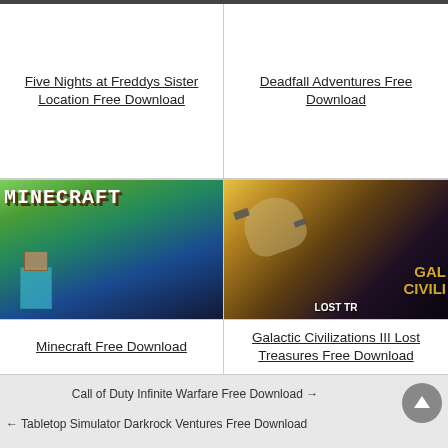[Figure (screenshot): Game cover image for Five Nights at Freddys Sister Location (cropped, top portion visible)]
Five Nights at Freddys Sister Location Free Download
[Figure (screenshot): Game cover image for Deadfall Adventures (cropped, top portion visible)]
Deadfall Adventures Free Download
[Figure (screenshot): Minecraft game cover showing Steve and creeper characters]
Minecraft Free Download
[Figure (screenshot): Galactic Civilizations III Lost Treasures game cover showing spacecraft]
Galactic Civilizations III Lost Treasures Free Download
Call of Duty Infinite Warfare Free Download →
← Tabletop Simulator Darkrock Ventures Free Download